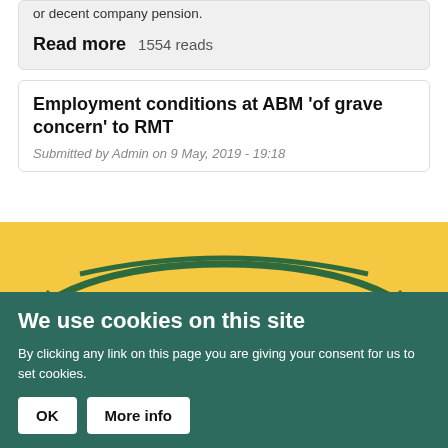or decent company pension.
Read more   1554 reads
Employment conditions at ABM 'of grave concern' to RMT
Submitted by Admin on 9 May, 2019 - 19:18
[Figure (logo): RMT union logo on yellow background — partial view showing the RMT lettering and oval swoosh in dark green]
We use cookies on this site
By clicking any link on this page you are giving your consent for us to set cookies.
OK   More info